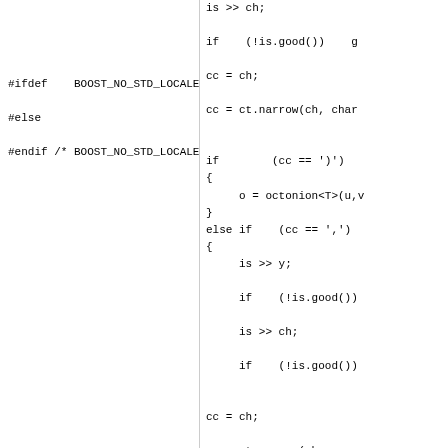Left column code: #ifdef BOOST_NO_STD_LOCALE / #else / #endif /* BOOST_NO_STD_LOCALE */ / (repeated) / #if BOOST_WORKAROUND(__GNUC__, < 3)
Right column code: is >> ch; if (!is.good()) g... / cc = ch; / cc = ct.narrow(ch, char... / if (cc == ')') { o = octonion<T>(u,v... } else if (cc == ',') { is >> y; if (!is.good()) is >> ch; if (!is.good()) / cc = ch; / cc = ct.narrow(ch, c... / if (cc == ') { o = octonion<T>... } else { / is.setstate(::s...